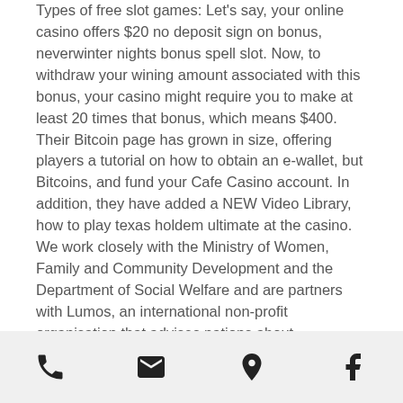Types of free slot games: Let's say, your online casino offers $20 no deposit sign on bonus, neverwinter nights bonus spell slot. Now, to withdraw your wining amount associated with this bonus, your casino might require you to make at least 20 times that bonus, which means $400. Their Bitcoin page has grown in size, offering players a tutorial on how to obtain an e-wallet, but Bitcoins, and fund your Cafe Casino account. In addition, they have added a NEW Video Library, how to play texas holdem ultimate at the casino. We work closely with the Ministry of Women, Family and Community Development and the Department of Social Welfare and are partners with Lumos, an international non-profit organisation that advises nations about deinstitutionalisation (DI), to implement the transition from institutional care to family
[phone icon] [email icon] [location icon] [facebook icon]